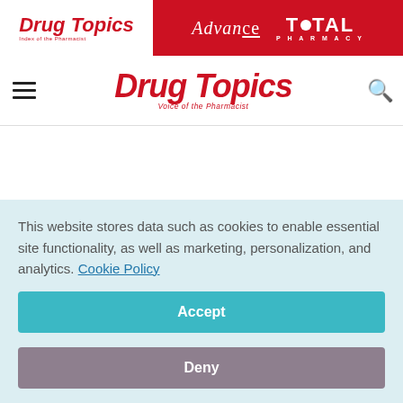Drug Topics | Advance | Total Pharmacy
Drug Topics — Voice of the Pharmacist
FDA has approved Invokamet, a fixed-dose therapy combining
This website stores data such as cookies to enable essential site functionality, as well as marketing, personalization, and analytics. Cookie Policy
Accept
Deny